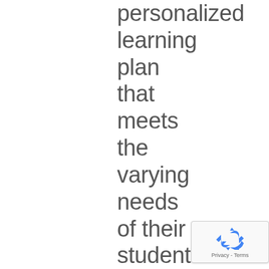personalized learning plan that meets the varying needs of their students. They must be able to target their needs while motivating the student. Building their self
[Figure (logo): Google reCAPTCHA badge with recycling-arrow logo icon and Privacy - Terms text]